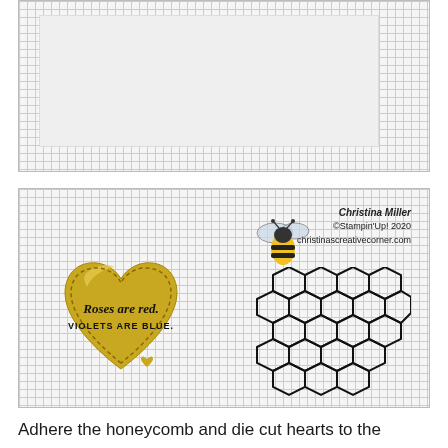[Figure (photo): Photo of a cutting mat/grid background with a white card or paper panel placed on top, showing craft preparation step]
[Figure (photo): Photo of craft supplies on a grid cutting mat: a gold foil heart stamped with 'Roses are red. VIOLETS ARE BLUE.', a colored bee die cut, a black honeycomb die cut, and small gold heart embellishments. Credit reads: Christina Miller, ©Stampin'Up! 2020, christinascreativecorner.com]
Adhere the honeycomb and die cut hearts to the